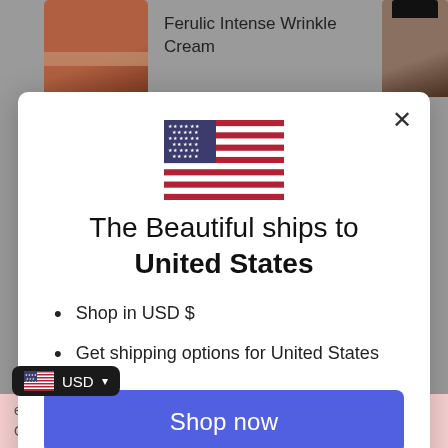[Figure (screenshot): E-commerce page background showing product images and 'Ferulic Intense Wrinkle Cream' text]
[Figure (illustration): US flag SVG illustration centered in modal]
The Beautiful ships to United States
Shop in USD $
Get shipping options for United States
Shop now
Change shipping country
USD
eye gel ADD TO CART use on all skin types. Offering up to 72 hours of hydration with a single